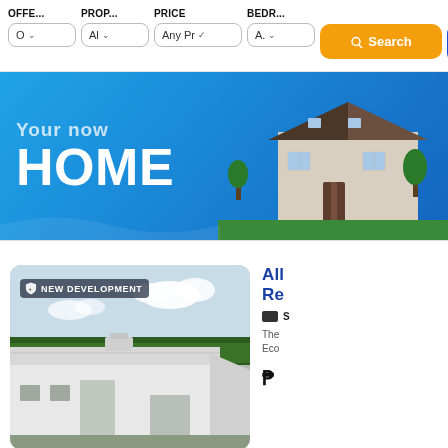OFFE...  PROP...  PRICE  BEDR...  O ∨  Al ∨  Any Pr ∨  A. ∨  Search  Mor
[Figure (screenshot): Real estate website banner with blue background showing 'Your new HOME' text and a modern house image]
[Figure (photo): Aerial photo of a white industrial/warehouse building labeled NEW DEVELOPMENT]
All Re
The Eco
P